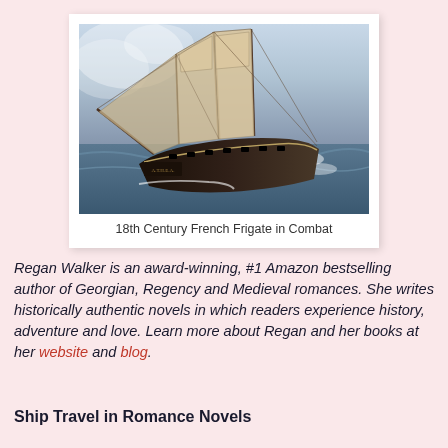[Figure (photo): Painting of an 18th century French frigate sailing in rough seas with full sails deployed]
18th Century French Frigate in Combat
Regan Walker is an award-winning, #1 Amazon bestselling author of Georgian, Regency and Medieval romances. She writes historically authentic novels in which readers experience history, adventure and love. Learn more about Regan and her books at her website and blog.
Ship Travel in Romance Novels